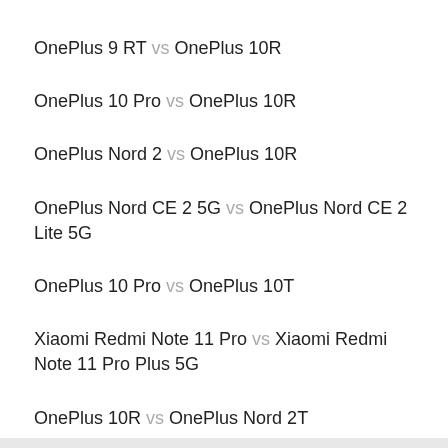OnePlus 9 RT vs OnePlus 10R
OnePlus 10 Pro vs OnePlus 10R
OnePlus Nord 2 vs OnePlus 10R
OnePlus Nord CE 2 5G vs OnePlus Nord CE 2 Lite 5G
OnePlus 10 Pro vs OnePlus 10T
Xiaomi Redmi Note 11 Pro vs Xiaomi Redmi Note 11 Pro Plus 5G
OnePlus 10R vs OnePlus Nord 2T